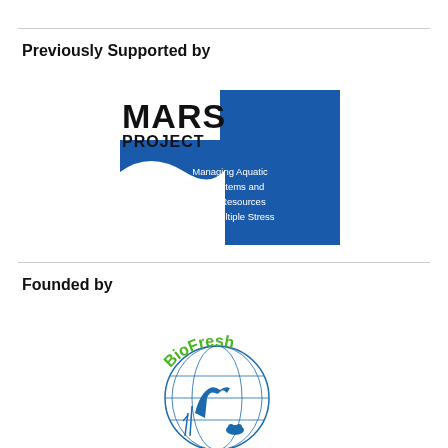Previously Supported by
[Figure (logo): MARS Project logo — blue and white design with text 'MARS PROJECT' and subtitle 'Managing Aquatic ecosystems and water Resources under multiple Stress']
Founded by
[Figure (logo): BioFresh logo — globe with heron/wildlife illustration and green 'BioFresh' text arc]